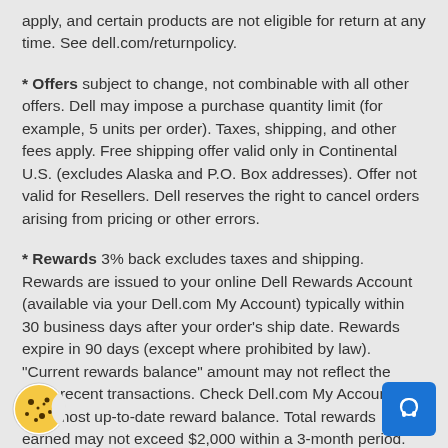apply, and certain products are not eligible for return at any time. See dell.com/returnpolicy.
* Offers subject to change, not combinable with all other offers. Dell may impose a purchase quantity limit (for example, 5 units per order). Taxes, shipping, and other fees apply. Free shipping offer valid only in Continental U.S. (excludes Alaska and P.O. Box addresses). Offer not valid for Resellers. Dell reserves the right to cancel orders arising from pricing or other errors.
* Rewards 3% back excludes taxes and shipping. Rewards are issued to your online Dell Rewards Account (available via your Dell.com My Account) typically within 30 business days after your order's ship date. Rewards expire in 90 days (except where prohibited by law). "Current rewards balance" amount may not reflect the most recent transactions. Check Dell.com My Account for your most up-to-date reward balance. Total rewards earned may not exceed $2,000 within a 3-month period. Outlet purchases do not qualify for rewards. Expedited Delivery not available on certain TVs, monitors, batteries and adapters, and is available in Continental (except Alaska) U.S. only. Other